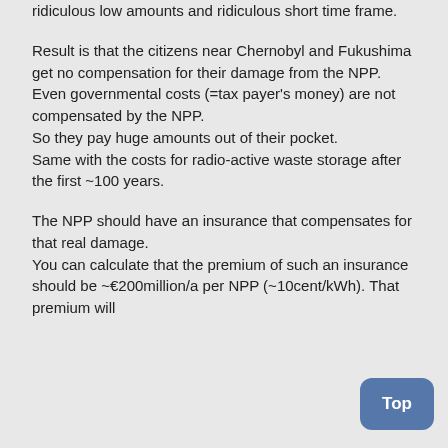ridiculous low amounts and ridiculous short time frame.
Result is that the citizens near Chernobyl and Fukushima get no compensation for their damage from the NPP. Even governmental costs (=tax payer's money) are not compensated by the NPP.
So they pay huge amounts out of their pocket.
Same with the costs for radio-active waste storage after the first ~100 years.
The NPP should have an insurance that compensates for that real damage.
You can calculate that the premium of such an insurance should be ~€200million/a per NPP (~10cent/kWh). That premium will